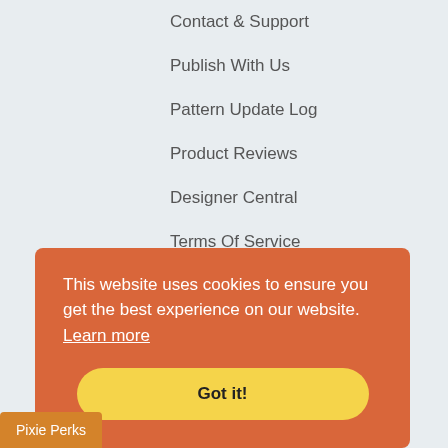Contact & Support
Publish With Us
Pattern Update Log
Product Reviews
Designer Central
Terms Of Service
Privacy Policy
Connect With Us
[Figure (infographic): Four circular social media icons in grey: Facebook, Play/YouTube, Pinterest, and Instagram/camera]
This website uses cookies to ensure you get the best experience on our website. Learn more
Got it!
Pixie Perks